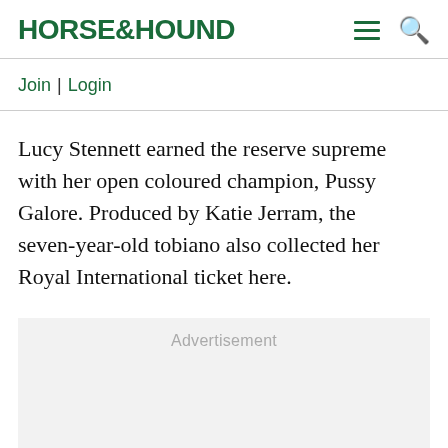HORSE&HOUND
Join | Login
Lucy Stennett earned the reserve supreme with her open coloured champion, Pussy Galore. Produced by Katie Jerram, the seven-year-old tobiano also collected her Royal International ticket here.
Advertisement